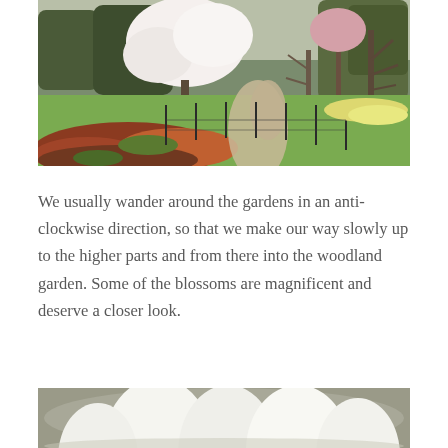[Figure (photo): A garden scene in early spring with a blooming white magnolia or cherry blossom tree on the left, a winding gravel path, green lawn, red and brown ground cover plants in the foreground, and daffodils in the background on the right. Several bare trees are also visible.]
We usually wander around the gardens in an anti-clockwise direction, so that we make our way slowly up to the higher parts and from there into the woodland garden. Some of the blossoms are magnificent and deserve a closer look.
[Figure (photo): Close-up of white flower blossoms, partially visible at the bottom of the page, with a blurred background.]